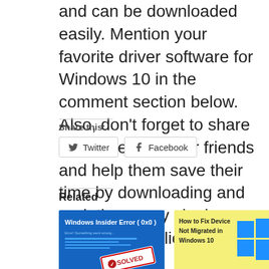and can be downloaded easily. Mention your favorite driver software for Windows 10 in the comment section below. Also, don't forget to share this page with your friends and help them save their time by downloading and updating every single driver in one click.
Share this:
[Figure (screenshot): Twitter and Facebook share buttons]
Related
[Figure (screenshot): Windows Insider Error (0x0) SOLVED thumbnail]
How to Fix 0x0 0x0 Error Code Easily?
July 7, 2022
[Figure (screenshot): How to Fix Device Not Migrated in Windows 10 thumbnail]
How to Fix Device Not Migrated Error in Windows 10?